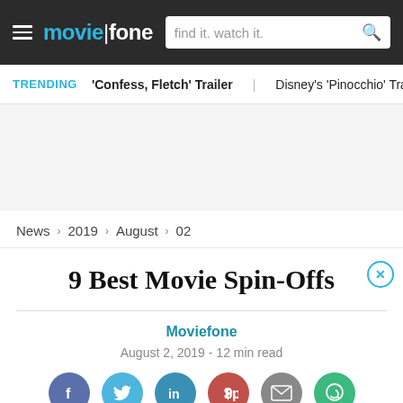moviefone — find it. watch it.
TRENDING  'Confess, Fletch' Trailer  Disney's 'Pinocchio' Trailer  T
[Figure (other): Advertisement placeholder area]
News › 2019 › August › 02
9 Best Movie Spin-Offs
Moviefone
August 2, 2019 - 12 min read
[Figure (infographic): Social sharing icons row: Facebook, Twitter, LinkedIn, Pinterest, Email, WhatsApp]